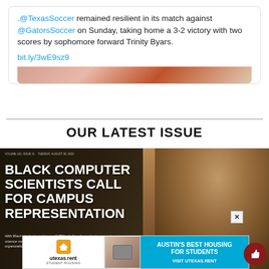.@TexasSoccer remained resilient in its match against @GatorsSoccer on Sunday, taking home a 3-2 victory with two scores by sophomore forward Trinity Byars.

bit.ly/3wE9sz9
[Figure (photo): Partial image of soccer-related photo strip at bottom of tweet card]
OUR LATEST ISSUE
[Figure (photo): Newspaper front page image: Black Computer Scientists Call for Campus Representation. Shows a Black student in glasses and red floral shirt sitting outside. Headline reads: BLACK COMPUTER SCIENTISTS CALL FOR CAMPUS REPRESENTATION. Subheadline: With Black students making up 2.77% of all undergraduate computer science majors, students find community through internships and organizations. Volume/issue info at top. Advertisement overlay at bottom: utexas.rent student housing - Austin's Best Housing for Students - Visit UTEXAS.RENT]